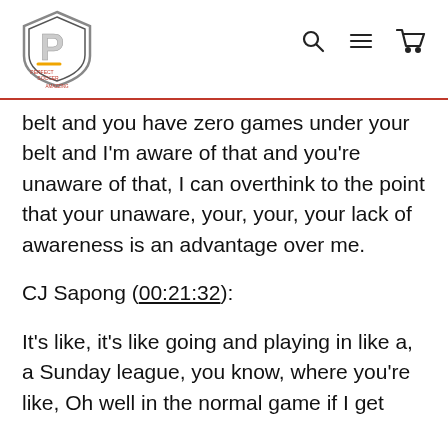Perfect Soccer [logo] [search] [menu] [cart]
belt and you have zero games under your belt and I'm aware of that and you're unaware of that, I can overthink to the point that your unaware, your, your, your lack of awareness is an advantage over me.
CJ Sapong (00:21:32):
It's like, it's like going and playing in like a, a Sunday league, you know, where you're like, Oh well in the normal game if I get